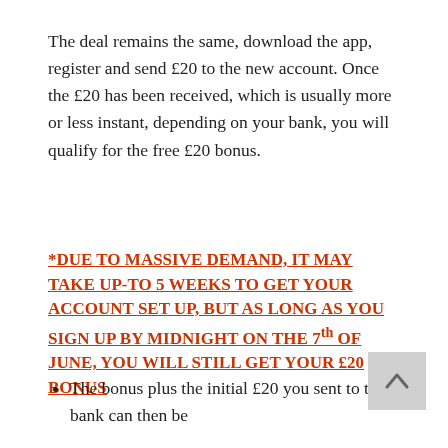The deal remains the same, download the app, register and send £20 to the new account. Once the £20 has been received, which is usually more or less instant, depending on your bank, you will qualify for the free £20 bonus.
*DUE TO MASSIVE DEMAND, IT MAY TAKE UP-TO 5 WEEKS TO GET YOUR ACCOUNT SET UP, BUT AS LONG AS YOU SIGN UP BY MIDNIGHT ON THE 7th OF JUNE, YOU WILL STILL GET YOUR £20 BONUS
The bonus plus the initial £20 you sent to the bank can then be withdrawn *straight away